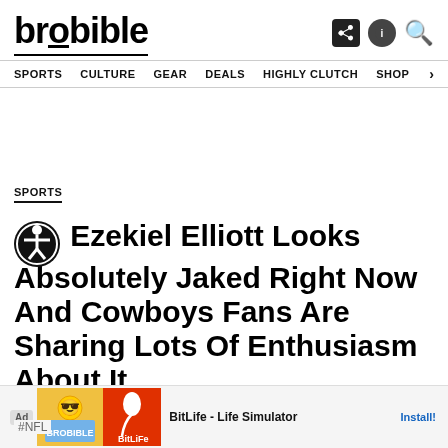brobible
SPORTS  CULTURE  GEAR  DEALS  HIGHLY CLUTCH  SHOP >
SPORTS
Ezekiel Elliott Looks Absolutely Jacked Right Now And Cowboys Fans Are Sharing Lots Of Enthusiasm About It
Ad  BitLife - Life Simulator  Install!
#NFL